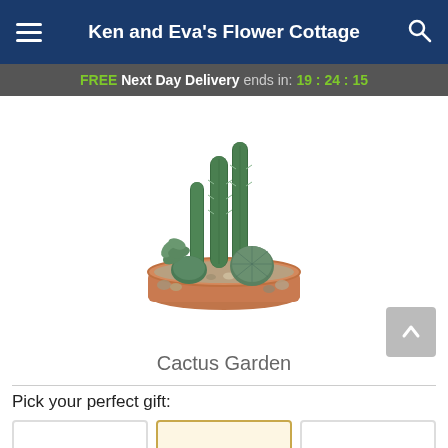Ken and Eva's Flower Cottage
FREE Next Day Delivery ends in: 19:24:15
[Figure (photo): A terracotta pot filled with an assortment of cacti and succulents of various sizes, surrounded by small stones and pebbles.]
Cactus Garden
Pick your perfect gift: